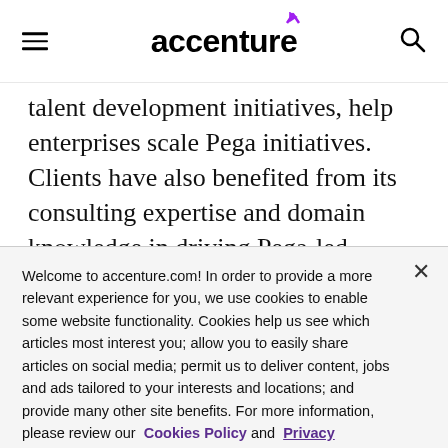accenture
talent development initiatives, help enterprises scale Pega initiatives. Clients have also benefited from its consulting expertise and domain knowledge in driving Pega-led transformation. Taken together, these efforts have earned Accenture its 'Leader' placement in this report."
Welcome to accenture.com! In order to provide a more relevant experience for you, we use cookies to enable some website functionality. Cookies help us see which articles most interest you; allow you to easily share articles on social media; permit us to deliver content, jobs and ads tailored to your interests and locations; and provide many other site benefits. For more information, please review our Cookies Policy and Privacy Statement.